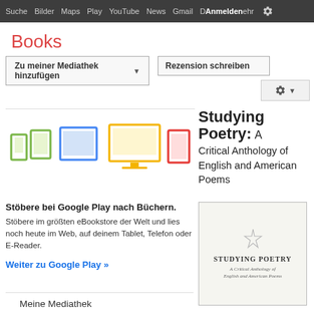Suche Bilder Maps Play YouTube News Gmail Mehr Anmelden
Books
Zu meiner Mediathek hinzufügen
Rezension schreiben
[Figure (screenshot): Gear/settings icon button with dropdown arrow]
[Figure (illustration): Device icons: smartphone, tablet, laptop/monitor (desktop), and e-reader in green, blue, yellow, and red colors]
Studying Poetry: A Critical Anthology of English and American Poems
Stöbere bei Google Play nach Büchern.
Stöbere im größten eBookstore der Welt und lies noch heute im Web, auf deinem Tablet, Telefon oder E-Reader.
Weiter zu Google Play »
[Figure (photo): Book cover of 'Studying Poetry: A Critical Anthology of English and American Poems']
Meine Mediathek